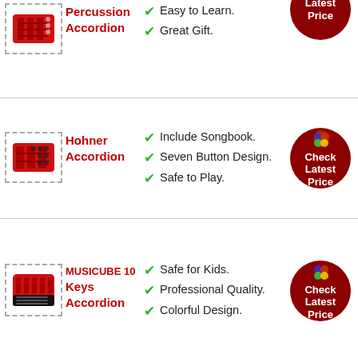Percussion Accordion — Easy to Learn. Great Gift.
[Figure (photo): Red accordion toy product image in dashed border]
Hohner Accordion — Include Songbook. Seven Button Design. Safe to Play.
[Figure (photo): Red Hohner accordion toy product image in dashed border]
MUSICUBE 10 Keys Accordion — Safe for Kids. Professional Quality. Colorful Design.
[Figure (photo): Red MUSICUBE accordion product image in dashed border]
Elloapic — ABS Plastic.
[Figure (photo): Elloapic accordion product image (partial)]